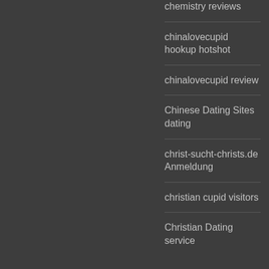chemistry reviews
chinalovecupid hookup hotshot
chinalovecupid review
Chinese Dating Sites dating
christ-sucht-christs.de Anmeldung
christian cupid visitors
Christian Dating service